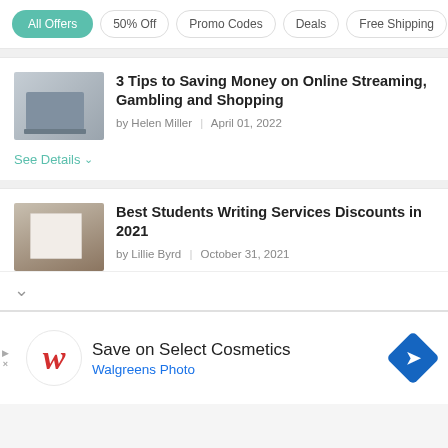All Offers | 50% Off | Promo Codes | Deals | Free Shipping
3 Tips to Saving Money on Online Streaming, Gambling and Shopping
by Helen Miller | April 01, 2022
See Details
Best Students Writing Services Discounts in 2021
by Lillie Byrd | October 31, 2021
[Figure (infographic): Advertisement banner for Walgreens Photo with the Walgreens W logo, text 'Save on Select Cosmetics', 'Walgreens Photo', and a blue diamond direction arrow icon]